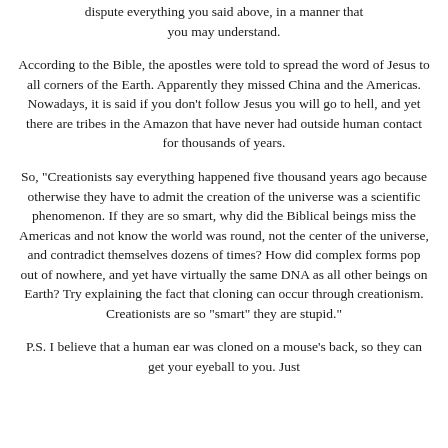dispute everything you said above, in a manner that you may understand.
According to the Bible, the apostles were told to spread the word of Jesus to all corners of the Earth. Apparently they missed China and the Americas. Nowadays, it is said if you don't follow Jesus you will go to hell, and yet there are tribes in the Amazon that have never had outside human contact for thousands of years.
So, "Creationists say everything happened five thousand years ago because otherwise they have to admit the creation of the universe was a scientific phenomenon. If they are so smart, why did the Biblical beings miss the Americas and not know the world was round, not the center of the universe, and contradict themselves dozens of times? How did complex forms pop out of nowhere, and yet have virtually the same DNA as all other beings on Earth? Try explaining the fact that cloning can occur through creationism. Creationists are so "smart" they are stupid."
P.S. I believe that a human ear was cloned on a mouse's back, so they can get your eyeball to you. Just